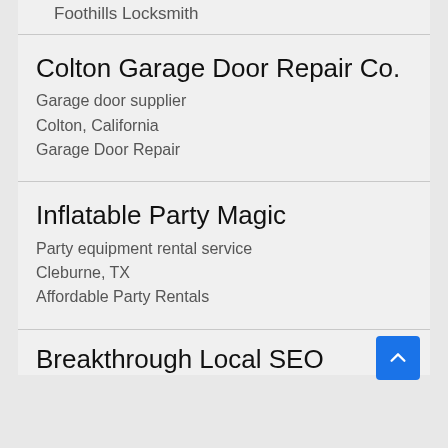Foothills Locksmith
Colton Garage Door Repair Co.
Garage door supplier
Colton, California
Garage Door Repair
Inflatable Party Magic
Party equipment rental service
Cleburne, TX
Affordable Party Rentals
Breakthrough Local SEO